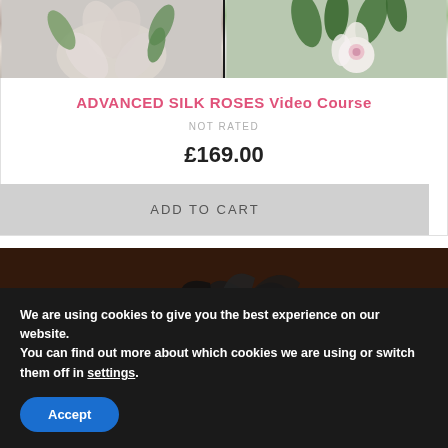[Figure (photo): Two product preview images of silk flower arrangements on dark background]
ADVANCED SILK ROSES Video Course
NOT RATED
£169.00
ADD TO CART
[Figure (photo): Close-up photo of black and white silk flower arrangement on dark brown background]
We are using cookies to give you the best experience on our website.
You can find out more about which cookies we are using or switch them off in settings.
Accept